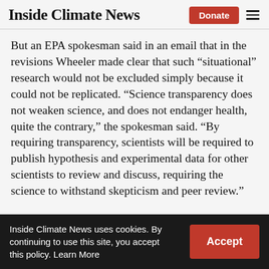Inside Climate News
But an EPA spokesman said in an email that in the revisions Wheeler made clear that such “situational” research would not be excluded simply because it could not be replicated. “Science transparency does not weaken science, and does not endanger health, quite the contrary,” the spokesman said. “By requiring transparency, scientists will be required to publish hypothesis and experimental data for other scientists to review and discuss, requiring the science to withstand skepticism and peer review.”
Inside Climate News uses cookies. By continuing to use this site, you accept this policy. Learn More